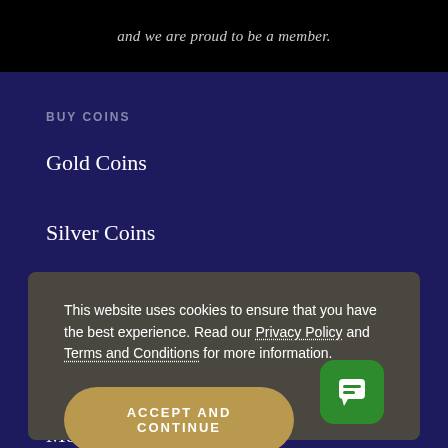and we are proud to be a member.
BUY COINS
Gold Coins
Silver Coins
Bullion Coins
Proof Coins
Modern Coins
This website uses cookies to ensure that you have the best experience. Read our Privacy Policy and Terms and Conditions for more information.
ACCEPT AND CONTINUE